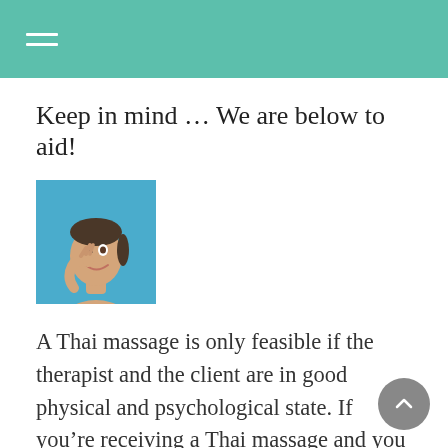Keep in mind … We are below to aid!
[Figure (photo): A woman smiling and touching her face/neck against a blue background]
A Thai massage is only feasible if the therapist and the client are in good physical and psychological state. If you're receiving a Thai massage and you are a Thai massage therapist, you must be in good shape and generally healthy however, you shouldn't be in the best physical condition of your life if you're suffering from an injury or illness. You